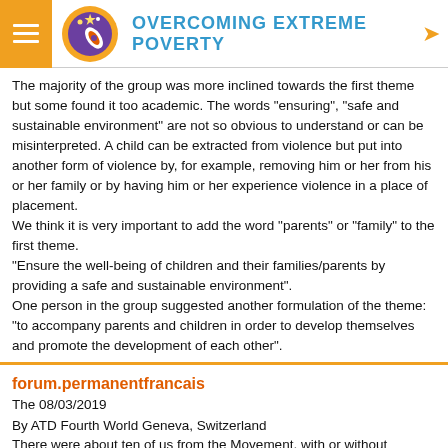OVERCOMING EXTREME POVERTY
The majority of the group was more inclined towards the first theme but some found it too academic. The words "ensuring", "safe and sustainable environment" are not so obvious to understand or can be misinterpreted. A child can be extracted from violence but put into another form of violence by, for example, removing him or her from his or her family or by having him or her experience violence in a place of placement.
We think it is very important to add the word "parents" or "family" to the first theme.
"Ensure the well-being of children and their families/parents by providing a safe and sustainable environment".
One person in the group suggested another formulation of the theme: "to accompany parents and children in order to develop themselves and promote the development of each other".
forum.permanentfrancais
The 08/03/2019
By ATD Fourth World Geneva, Switzerland
There were about ten of us from the Movement, with or without experience of poverty, to talk about the consultation on the